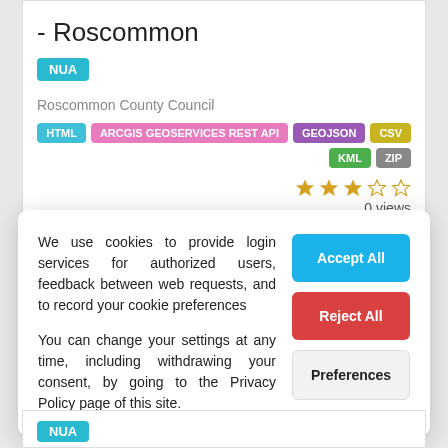- Roscommon
NUA
Roscommon County Council
HTML | ARCGIS GEOSERVICES REST API | GEOJSON | CSV | KML | ZIP
0 views
We use cookies to provide login services for authorized users, feedback between web requests, and to record your cookie preferences
You can change your settings at any time, including withdrawing your consent, by going to the Privacy Policy page of this site.
Accept All
Reject All
Preferences
NUA